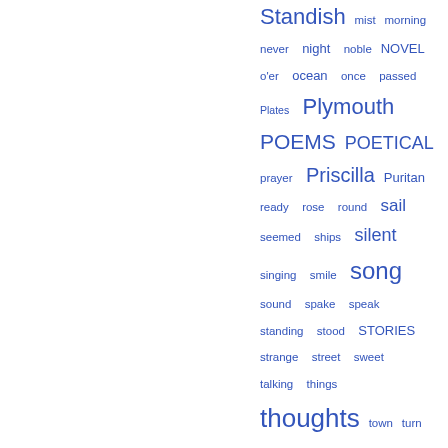[Figure (infographic): Word cloud / tag cloud with terms in varying font sizes, all in blue, arranged in rows. Words include: Standish, mist, morning, never, night, noble, NOVEL, o'er, ocean, once, passed, Plates, Plymouth, POEMS, POETICAL, prayer, Priscilla, Puritan, ready, rose, round, sail, seemed, ships, silent, singing, smile, song, sound, spake, speak, standing, stood, STORIES, strange, street, sweet, talking, things, thoughts, town, turn, Victor Galbraith, village, voice, vols, walls, wild, wind, wind's, women, wonderful, woods]